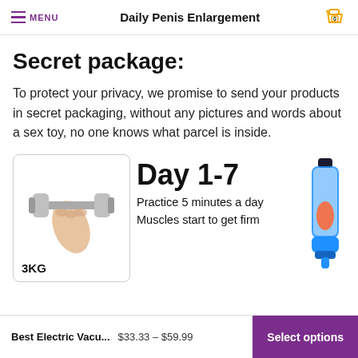Daily Penis Enlargement
Secret package:
To protect your privacy, we promise to send your products in secret packaging, without any pictures and words about a sex toy, no one knows what parcel is inside.
[Figure (photo): A hand holding a silver dumbbell, labeled 3KG at the bottom]
Day 1-7
Practice 5 minutes a day
Muscles start to get firm
[Figure (photo): A blue and clear electric vacuum pump device with orange internal component]
Best Electric Vacu... $33.33 – $59.99 Select options